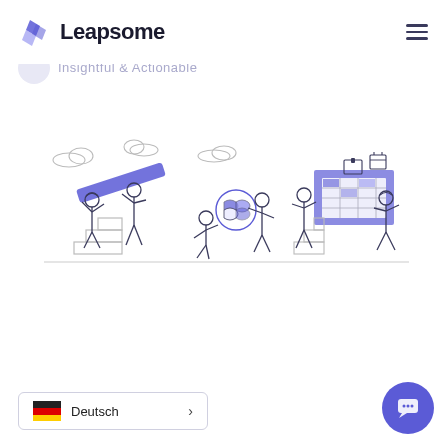Leapsome
Insightful & Actionable
[Figure (illustration): Three groups of illustrated line-art figures engaged in teamwork activities: left group carrying a large blue plank up steps, center figure assembling a puzzle globe, right group arranging items on a large board/calendar on a wall.]
Deutsch >